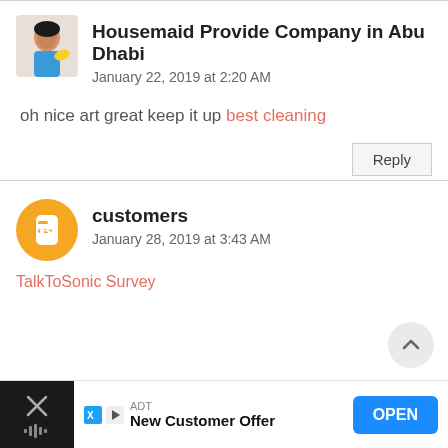Housemaid Provide Company in Abu Dhabi
January 22, 2019 at 2:20 AM
oh nice art great keep it up best cleaning
Reply
customers
January 28, 2019 at 3:43 AM
TalkToSonic Survey
ADT
New Customer Offer
OPEN